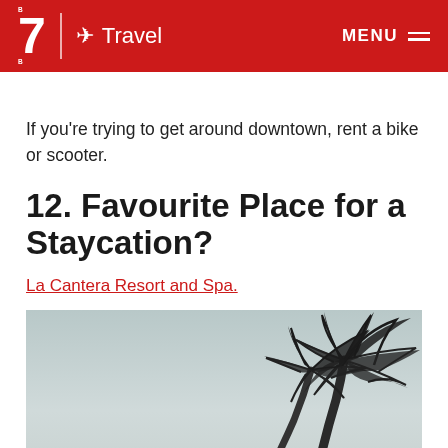B7 Travel — MENU
If you're trying to get around downtown, rent a bike or scooter.
12. Favourite Place for a Staycation?
La Cantera Resort and Spa.
[Figure (photo): Black and white photo of palm tree tops against a light grey sky]